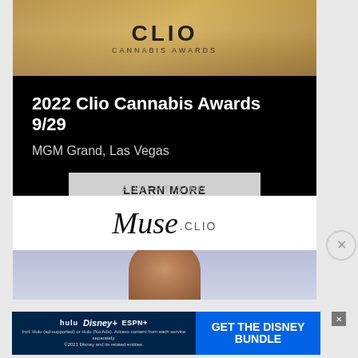[Figure (photo): Clio Cannabis Awards banner with golden trophy image and CLIO CANNABIS AWARDS text]
2022 Clio Cannabis Awards 9/29
MGM Grand, Las Vegas
LEARN MORE
ADVERTISING
[Figure (logo): Muse by Clio logo in script font with person's head partially visible below]
[Figure (photo): Person's head visible at bottom of Muse by Clio advertisement panel]
[Figure (infographic): Disney Bundle advertisement showing Hulu, Disney+, ESPN+ logos with GET THE DISNEY BUNDLE text]